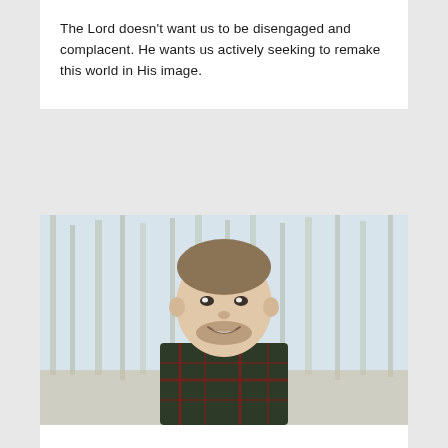The Lord doesn't want us to be disengaged and complacent. He wants us actively seeking to remake this world in His image.
[Figure (photo): Portrait photo of a young man with short hair and a beard, smiling, wearing a plaid flannel shirt. He is outdoors in a forest setting with blurred trees in the background.]